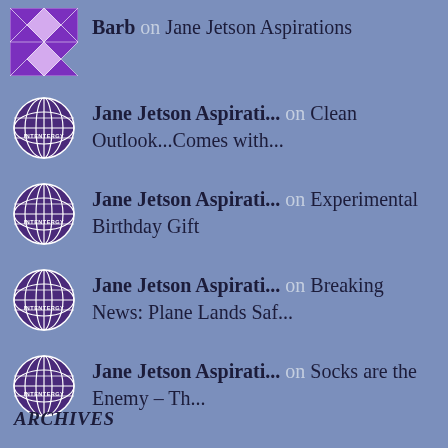Barb on Jane Jetson Aspirations
Jane Jetson Aspirati... on Clean Outlook...Comes with...
Jane Jetson Aspirati... on Experimental Birthday Gift
Jane Jetson Aspirati... on Breaking News: Plane Lands Saf...
Jane Jetson Aspirati... on Socks are the Enemy – Th...
ARCHIVES